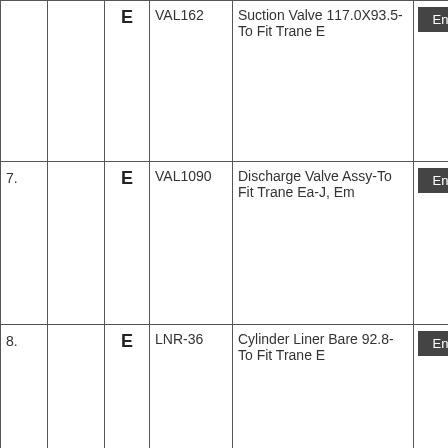| # |  | Type | Part | Description | Action |  |
| --- | --- | --- | --- | --- | --- | --- |
|  |  | E | VAL162 | Suction Valve 117.0X93.5-To Fit Trane E | Enquire |  |
| 7. |  | E | VAL1090 | Discharge Valve Assy-To Fit Trane Ea-J, Em | Enquire |  |
| 8. |  | E | LNR-36 | Cylinder Liner Bare 92.8-To Fit Trane E | Enquire |  |
| 9. |  | E | BRG-289 | TR Bearing main (standard) for | Enquire |  |